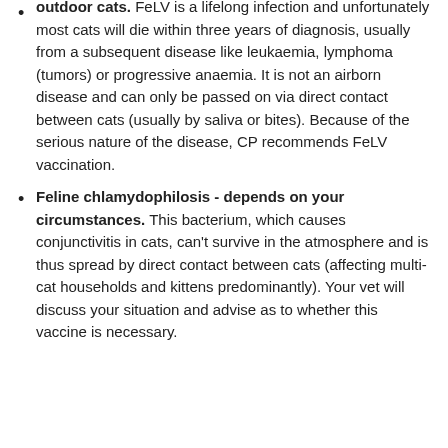outdoor cats. FeLV is a lifelong infection and unfortunately most cats will die within three years of diagnosis, usually from a subsequent disease like leukaemia, lymphoma (tumors) or progressive anaemia. It is not an airborn disease and can only be passed on via direct contact between cats (usually by saliva or bites). Because of the serious nature of the disease, CP recommends FeLV vaccination.
Feline chlamydophilosis - depends on your circumstances. This bacterium, which causes conjunctivitis in cats, can't survive in the atmosphere and is thus spread by direct contact between cats (affecting multi-cat households and kittens predominantly). Your vet will discuss your situation and advise as to whether this vaccine is necessary.